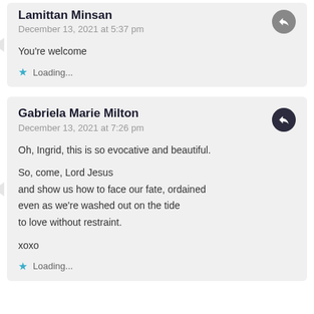Lamittan Minsan
December 13, 2021 at 5:37 pm

You're welcome
★ Loading...
Gabriela Marie Milton
December 13, 2021 at 7:26 pm

Oh, Ingrid, this is so evocative and beautiful.

So, come, Lord Jesus
and show us how to face our fate, ordained
even as we're washed out on the tide
to love without restraint.

xoxo
★ Loading...